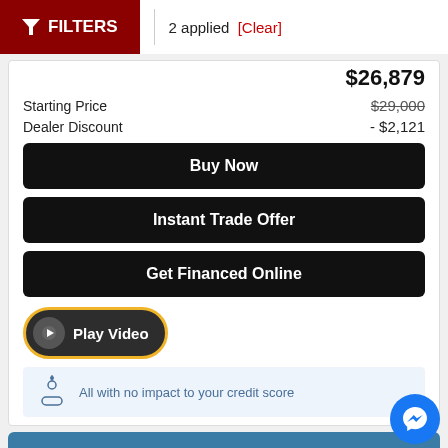FILTERS | 2 applied [Clear]
$26,879
Starting Price $29,000
Dealer Discount - $2,121
Buy Now
Instant Trade Offer
Get Financed Online
[Figure (other): Play Video button with yellow border and play icon]
All with no impact to your credit score
Estimate financing  Capi